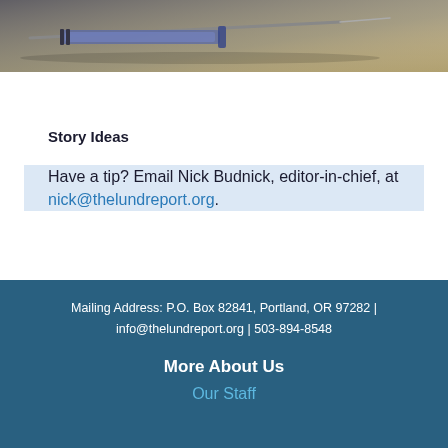[Figure (photo): Close-up photo of medical syringes/needles on a sandy/beige background]
Story Ideas
Have a tip? Email Nick Budnick, editor-in-chief, at nick@thelundreport.org.
Mailing Address: P.O. Box 82841, Portland, OR 97282 | info@thelundreport.org | 503-894-8548
More About Us
Our Staff